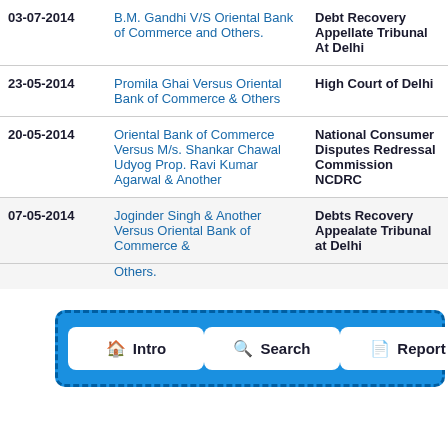| Date | Case | Court |
| --- | --- | --- |
| 03-07-2014 | B.M. Gandhi V/S Oriental Bank of Commerce and Others. | Debt Recovery Appellate Tribunal At Delhi |
| 23-05-2014 | Promila Ghai Versus Oriental Bank of Commerce & Others | High Court of Delhi |
| 20-05-2014 | Oriental Bank of Commerce Versus M/s. Shankar Chawal Udyog Prop. Ravi Kumar Agarwal & Another | National Consumer Disputes Redressal Commission NCDRC |
| 07-05-2014 | Joginder Singh & Another Versus Oriental Bank of Commerce & Others. | Debts Recovery Appealate Tribunal at Delhi |
[Figure (screenshot): Navigation bar overlay with three buttons: Intro (home icon), Search (magnifier icon), Report (document icon), on a blue dashed-border background.]